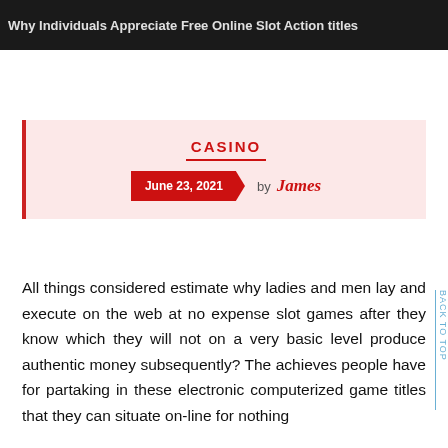Why Individuals Appreciate Free Online Slot Action titles
CASINO
June 23, 2021 by James
All things considered estimate why ladies and men lay and execute on the web at no expense slot games after they know which they will not on a very basic level produce authentic money subsequently? The achieves people have for partaking in these electronic computerized game titles that they can situate on-line for nothing